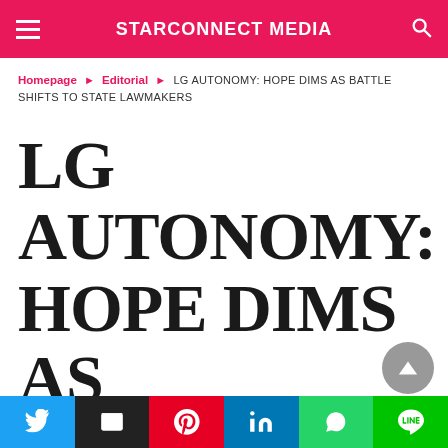STARCONNECT MEDIA
Homepage ▶ Editorial ▶ LG AUTONOMY: HOPE DIMS AS BATTLE SHIFTS TO STATE LAWMAKERS
LG AUTONOMY: HOPE DIMS AS BATTLE SHIFTS TO STATE LAWMAKERS